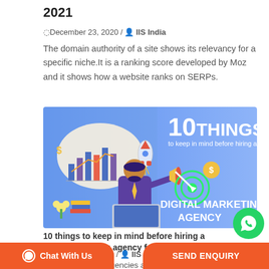2021
⊙December 23, 2020 / 👤 IIS India
The domain authority of a site shows its relevancy for a specific niche.It is a ranking score developed by Moz and it shows how a website ranks on SERPs.
[Figure (infographic): Infographic with blue gradient background showing a man at a desk with a laptop, a rocket, bar charts, dollar signs, a target with arrow, and text reading '10 THINGS to keep in mind before hiring a DIGITAL MARKETING AGENCY']
10 things to keep in mind before hiring a digital marketing agency for your business
⊙December 7, 2020 / 👤 IIS India
Digital marketing agencies are a dime...mber runs in a few hu...